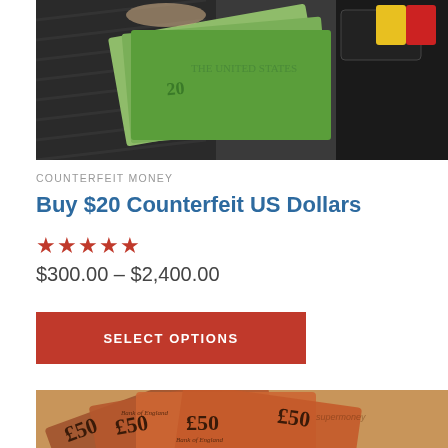[Figure (photo): Photo of US dollar bills fanned out on a dark background with a wallet and colorful items visible]
COUNTERFEIT MONEY
Buy $20 Counterfeit US Dollars
★★★★★ (5 stars)
$300.00 – $2,400.00
SELECT OPTIONS
[Figure (photo): Photo of UK £50 Bank of England notes fanned out with WhatsApp icon and chat icon overlaid]